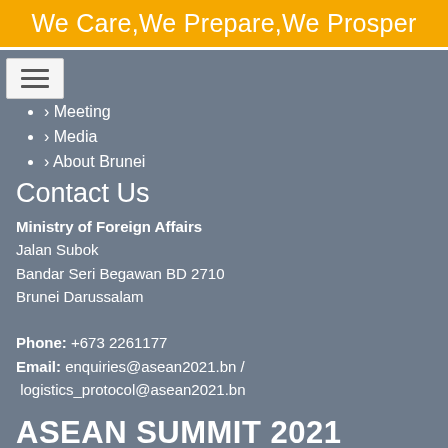We Care,We Prepare,We Prosper
[Figure (screenshot): Hamburger menu icon (three horizontal lines) inside a white/light grey nav bar element]
> Meeting
> Media
> About Brunei
Contact Us
Ministry of Foreign Affairs
Jalan Subok
Bandar Seri Begawan BD 2710
Brunei Darussalam

Phone: +673 2261177
Email: enquiries@asean2021.bn / logistics_protocol@asean2021.bn
ASEAN SUMMIT 2021